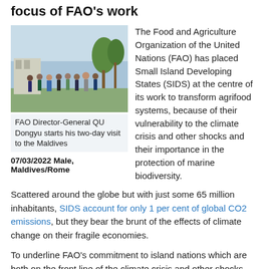focus of FAO's work
[Figure (photo): Group photo of FAO Director-General QU Dongyu with officials during his two-day visit to the Maldives, outdoors with palm trees in background]
FAO Director-General QU Dongyu starts his two-day visit to the Maldives
07/03/2022 Male, Maldives/Rome
The Food and Agriculture Organization of the United Nations (FAO) has placed Small Island Developing States (SIDS) at the centre of its work to transform agrifood systems, because of their vulnerability to the climate crisis and other shocks and their importance in the protection of marine biodiversity.
Scattered around the globe but with just some 65 million inhabitants, SIDS account for only 1 per cent of global CO2 emissions, but they bear the brunt of the effects of climate change on their fragile economies.
To underline FAO's commitment to island nations which are both on the front line of the climate crisis and other shocks and at the same time play a vital role as guardians of our oceans' biodiversity Director-General QU Dongyu is making a two-day visit to the Maldives.
While here, the FAO Director-General is signing a Country